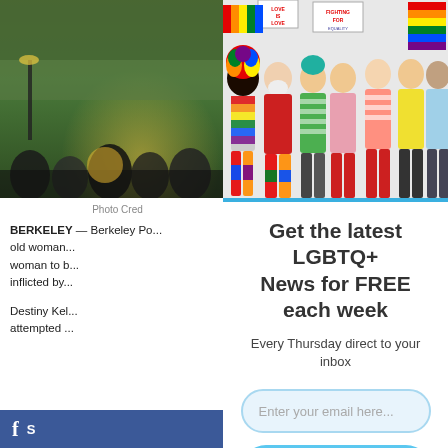[Figure (photo): Outdoor scene with trees and people, partially visible on the left side of the page]
[Figure (photo): Group of LGBTQ+ activists holding pride flags and signs reading 'Love is Love' and 'Fighting for Equality', colorfully dressed, jumping and celebrating]
Photo Cred
BERKELEY — Berkeley Po... old woman... woman to b... inflicted by...
Destiny Kel... attempted t...
Get the latest LGBTQ+ News for FREE each week
Every Thursday direct to your inbox
Enter your email here...
Yes! I want FREE LGBTQ News